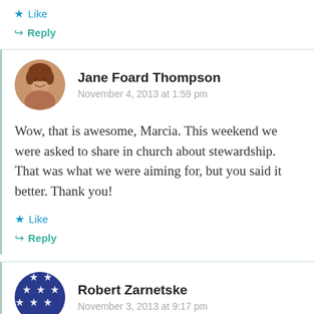★ Like
↪ Reply
Jane Foard Thompson
November 4, 2013 at 1:59 pm
Wow, that is awesome, Marcia. This weekend we were asked to share in church about stewardship. That was what we were aiming for, but you said it better. Thank you!
★ Like
↪ Reply
Robert Zarnetske
November 3, 2013 at 9:17 pm